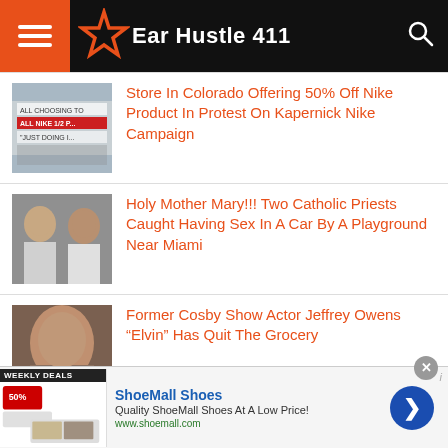Ear Hustle 411
[Figure (photo): Store window with Nike sale sign]
Store In Colorado Offering 50% Off Nike Product In Protest On Kapernick Nike Campaign
[Figure (photo): Two Catholic priests mugshots]
Holy Mother Mary!!! Two Catholic Priests Caught Having Sex In A Car By A Playground Near Miami
[Figure (photo): Person close-up photo]
Former Cosby Show Actor Jeffrey Owens “Elvin” Has Quit The Grocery
ShoeMall Shoes — Quality ShoeMall Shoes At A Low Price! www.shoemall.com